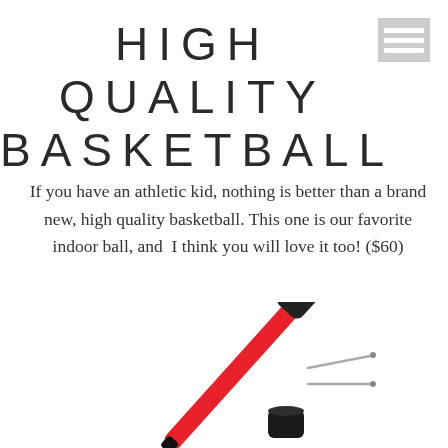HIGH QUALITY BASKETBALL
If you have an athletic kid, nothing is better than a brand new, high quality basketball. This one is our favorite indoor ball, and I think you will love it too! ($60)
[Figure (photo): A red ball pump with black grip handle, two needle attachments, and a black cap, shown on a white background.]